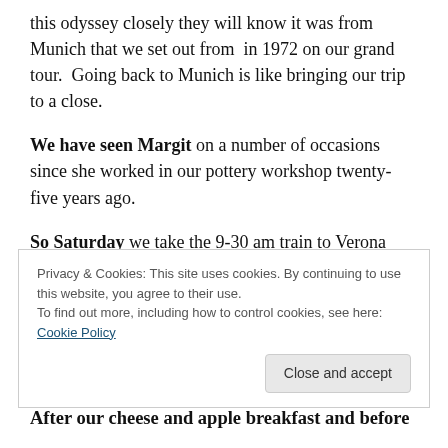this odyssey closely they will know it was from Munich that we set out from  in 1972 on our grand tour.  Going back to Munich is like bringing our trip to a close.
We have seen Margit on a number of occasions since she worked in our pottery workshop twenty-five years ago.
So Saturday we take the 9-30 am train to Verona Italy then on to Munich to arrive 6-25 pm.  As we get closer to Europe accommodation and train fares are getting more expensive. Gone are the cheap digs, buses and taxis of Turkey, Greece and Croatia.
Privacy & Cookies: This site uses cookies. By continuing to use this website, you agree to their use. To find out more, including how to control cookies, see here: Cookie Policy
After our cheese and apple breakfast and before